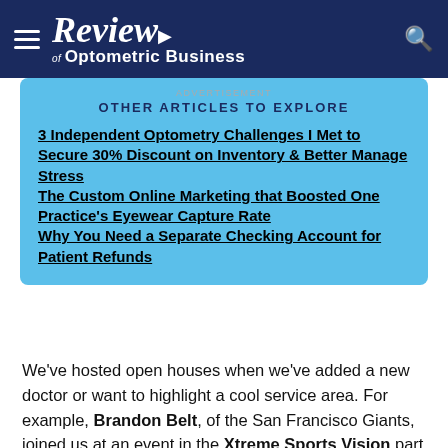Review of Optometric Business
ADVERTISEMENT
OTHER ARTICLES TO EXPLORE
3 Independent Optometry Challenges I Met to Secure 30% Discount on Inventory & Better Manage Stress
The Custom Online Marketing that Boosted One Practice's Eyewear Capture Rate
Why You Need a Separate Checking Account for Patient Refunds
We've hosted open houses when we've added a new doctor or want to highlight a cool service area. For example, Brandon Belt, of the San Francisco Giants, joined us at an event in the Xtreme Sports Vision part of our office to talk